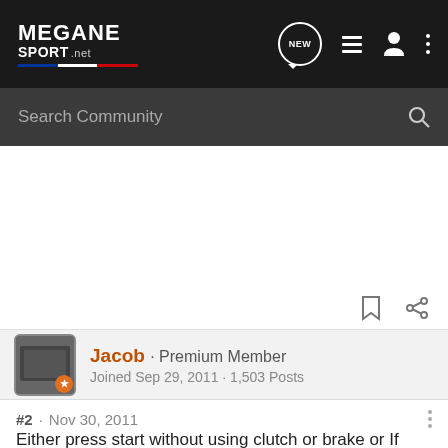MEGANE SPORT.net
Search Community
Jacob · Premium Member
Joined Sep 29, 2011 · 1,503 Posts
#2 · Nov 30, 2011
Either press start without using clutch or brake or If running press button to cut off and Press again.